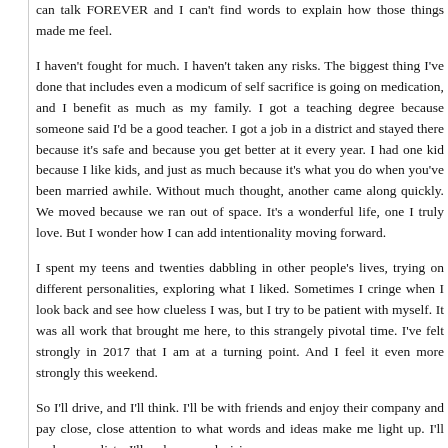can talk FOREVER and I can't find words to explain how those things made me feel.
I haven't fought for much. I haven't taken any risks. The biggest thing I've done that includes even a modicum of self sacrifice is going on medication, and I benefit as much as my family. I got a teaching degree because someone said I'd be a good teacher. I got a job in a district and stayed there because it's safe and because you get better at it every year. I had one kid because I like kids, and just as much because it's what you do when you've been married awhile. Without much thought, another came along quickly. We moved because we ran out of space. It's a wonderful life, one I truly love. But I wonder how I can add intentionality moving forward.
I spent my teens and twenties dabbling in other people's lives, trying on different personalities, exploring what I liked. Sometimes I cringe when I look back and see how clueless I was, but I try to be patient with myself. It was all work that brought me here, to this strangely pivotal time. I've felt strongly in 2017 that I am at a turning point. And I feel it even more strongly this weekend.
So I'll drive, and I'll think. I'll be with friends and enjoy their company and pay close, close attention to what words and ideas make me light up. I'll make some lists. I'll make some decisions.